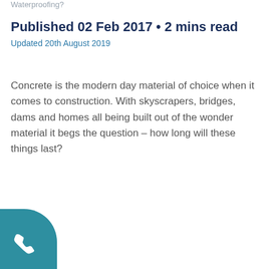Waterproofing?
Published 02 Feb 2017 • 2 mins read
Updated 20th August 2019
Concrete is the modern day material of choice when it comes to construction. With skyscrapers, bridges, dams and homes all being built out of the wonder material it begs the question – how long will these things last?
[Figure (illustration): Teal/blue rounded square widget with a white telephone handset icon in the bottom-left corner of the page]